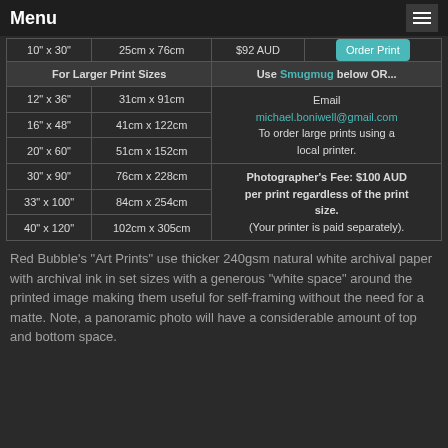Menu
| Size (in) | Size (cm) | Price | Action / Info |
| --- | --- | --- | --- |
| 10" x 30" | 25cm x 76cm | $92 AUD | Order Print |
| For Larger Print Sizes |  | Use Smugmug below OR... |  |
| 12" x 36" | 31cm x 91cm | Email michael.boniwell@gmail.com To order large prints using a local printer. |  |
| 16" x 48" | 41cm x 122cm |  |  |
| 20" x 60" | 51cm x 152cm |  |  |
| 30" x 90" | 76cm x 228cm | Photographer's Fee: $100 AUD per print regardless of the print size. (Your printer is paid separately). |  |
| 33" x 100" | 84cm x 254cm |  |  |
| 40" x 120" | 102cm x 305cm |  |  |
Red Bubble's "Art Prints" use thicker 240gsm natural white archival paper with archival ink in set sizes with a generous "white space" around the printed image making them useful for self-framing without the need for a matte. Note, a panoramic photo will have a considerable amount of top and bottom space.